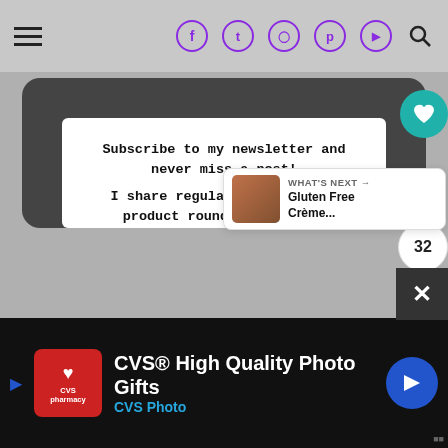Navigation and social icons header bar
Subscribe to my newsletter and never miss a post!
I share regular new recipes, product round ups, travel guides and coeliac life tips.
Email *
I Agree
Your email address will be shared with My Gluten
WHAT'S NEXT → Gluten Free Crème...
32
CVS® High Quality Photo Gifts CVS Photo